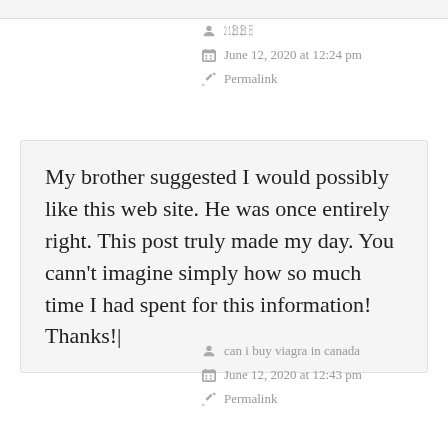㎜㎜㎜
June 12, 2020 at 12:24 pm
Permalink
My brother suggested I would possibly like this web site. He was once entirely right. This post truly made my day. You cann't imagine simply how so much time I had spent for this information! Thanks!|
can i buy viagra in canada
June 12, 2020 at 12:43 pm
Permalink